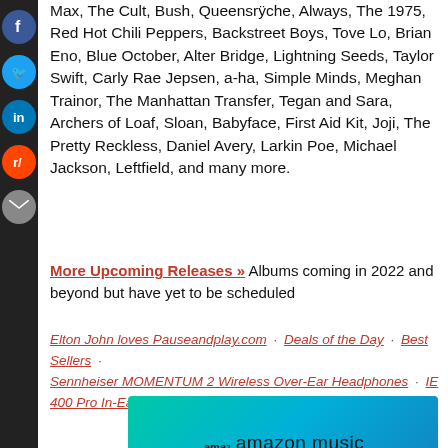Max, The Cult, Bush, Queensrÿche, Always, The 1975, Red Hot Chili Peppers, Backstreet Boys, Tove Lo, Brian Eno, Blue October, Alter Bridge, Lightning Seeds, Taylor Swift, Carly Rae Jepsen, a-ha, Simple Minds, Meghan Trainor, The Manhattan Transfer, Tegan and Sara, Archers of Loaf, Sloan, Babyface, First Aid Kit, Joji, The Pretty Reckless, Daniel Avery, Larkin Poe, Michael Jackson, Leftfield, and many more.
More Upcoming Releases » Albums coming in 2022 and beyond but have yet to be scheduled
Elton John loves Pauseandplay.com · Deals of the Day · Best Sellers · Sennheiser MOMENTUM 2 Wireless Over-Ear Headphones · IE 400 Pro In-Ear Monitors
[Figure (illustration): Amazon Music Podcasts banner advertisement with teal-to-blue gradient background]